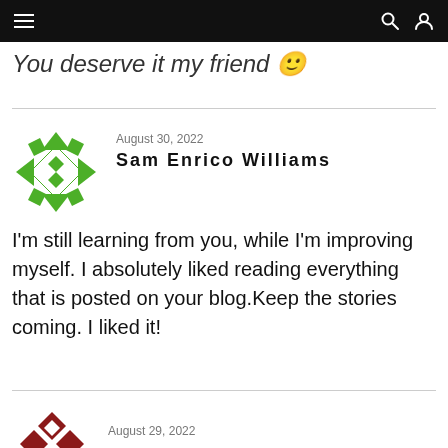Navigation bar with hamburger menu, search and user icons
You deserve it my friend 🙂
August 30, 2022
Sam Enrico Williams
I'm still learning from you, while I'm improving myself. I absolutely liked reading everything that is posted on your blog.Keep the stories coming. I liked it!
August 29, 2022